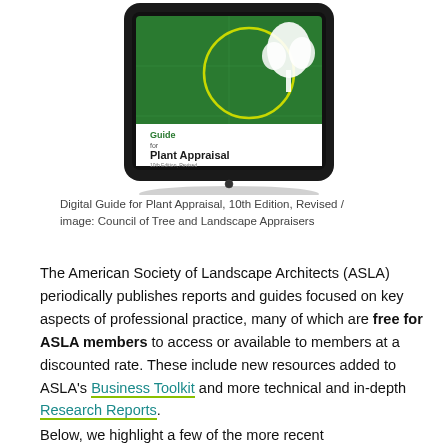[Figure (photo): A tablet device displaying the cover of the Digital Guide for Plant Appraisal, 10th Edition, Revised. The cover shows a green background with a white tree illustration and yellow circle graphic, along with the title 'Guide for Plant Appraisal'.]
Digital Guide for Plant Appraisal, 10th Edition, Revised / image: Council of Tree and Landscape Appraisers
The American Society of Landscape Architects (ASLA) periodically publishes reports and guides focused on key aspects of professional practice, many of which are free for ASLA members to access or available to members at a discounted rate. These include new resources added to ASLA's Business Toolkit and more technical and in-depth Research Reports.
Below, we highlight a few of the more recent